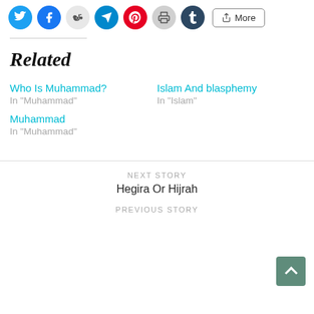[Figure (other): Social sharing buttons: Twitter, Facebook, Reddit, Telegram, Pinterest, Print, Tumblr, More]
Related
Who Is Muhammad?
In "Muhammad"
Islam And blasphemy
In "Islam"
Muhammad
In "Muhammad"
NEXT STORY
Hegira Or Hijrah
PREVIOUS STORY